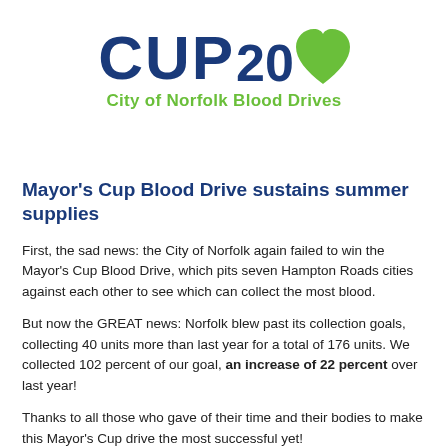[Figure (logo): Mayor's Cup City of Norfolk Blood Drives logo — blue bold text 'CUP' with green heart icon and green bold tagline 'City of Norfolk Blood Drives']
Mayor's Cup Blood Drive sustains summer supplies
First, the sad news: the City of Norfolk again failed to win the Mayor's Cup Blood Drive, which pits seven Hampton Roads cities against each other to see which can collect the most blood.
But now the GREAT news: Norfolk blew past its collection goals, collecting 40 units more than last year for a total of 176 units. We collected 102 percent of our goal, an increase of 22 percent over last year!
Thanks to all those who gave of their time and their bodies to make this Mayor's Cup drive the most successful yet!